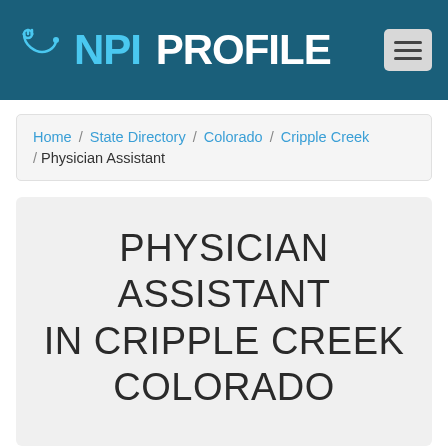NPI PROFILE
Home / State Directory / Colorado / Cripple Creek / Physician Assistant
PHYSICIAN ASSISTANT IN CRIPPLE CREEK COLORADO